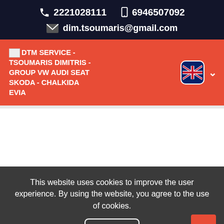2221028111   6946507092
dim.tsoumaris@gmail.com
DTM SERVICE - TSOUMARIS DIMITRIS - GROUP VW AUDI SEAT SKODA - CHALKIDA EVIA
[Figure (screenshot): White content area placeholder]
This website uses cookies to improve the user experience. By using the website, you agree to the use of cookies.
Agree